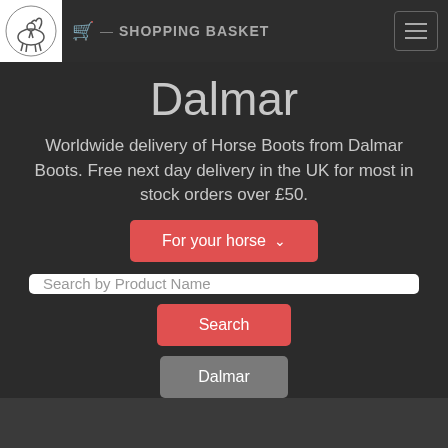SHOPPING BASKET
Dalmar
Worldwide delivery of Horse Boots from Dalmar Boots. Free next day delivery in the UK for most in stock orders over £50.
For your horse ∨
Search by Product Name
Search
Dalmar